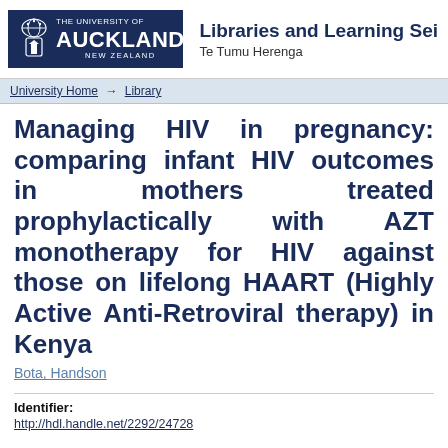THE UNIVERSITY OF AUCKLAND NEW ZEALAND | Libraries and Learning Services Te Tumu Herenga
University Home → Library
Managing HIV in pregnancy: comparing infant HIV outcomes in mothers treated prophylactically with AZT monotherapy for HIV against those on lifelong HAART (Highly Active Anti-Retroviral therapy) in Kenya
Bota, Handson
Identifier:
http://hdl.handle.net/2292/24728